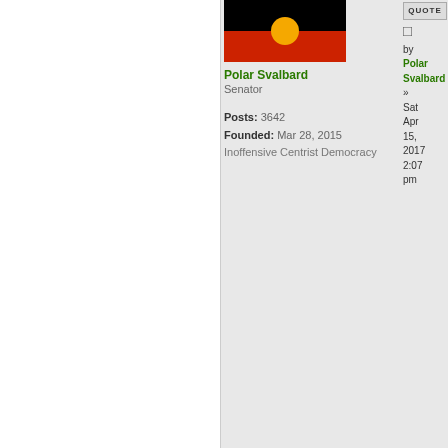[Figure (illustration): Australian Aboriginal Flag: black top half, red bottom half, yellow circle in center]
Polar Svalbard
Senator

Posts: 3642
Founded: Mar 28, 2015
Inoffensive Centrist Democracy
QUOTE
by
Polar Svalbard
»
Sat Apr 15, 2017 2:07 pm